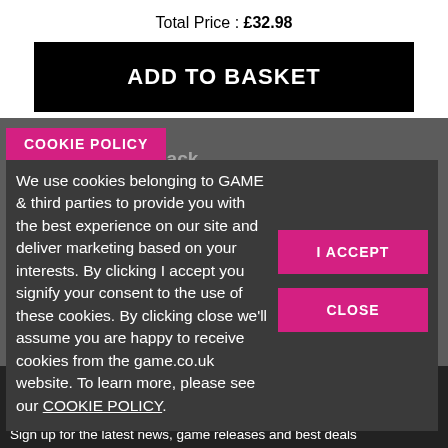Total Price : £32.98
[Figure (screenshot): Black 'ADD TO BASKET' button]
COOKIE POLICY
We use cookies belonging to GAME & third parties to provide you with the best experience on our site and deliver marketing based on your interests. By clicking I accept you signify your consent to the use of these cookies. By clicking close we'll assume you are happy to receive cookies from the game.co.uk website. To learn more, please see our COOKIE POLICY.
[Figure (screenshot): I ACCEPT button (magenta)]
[Figure (screenshot): CLOSE button (magenta)]
DISCOVER GAME
Email Sign-Up
Sign up for the latest news, game releases and best deals